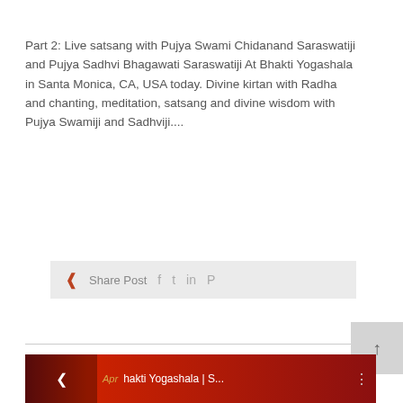Part 2: Live satsang with Pujya Swami Chidanand Saraswatiji and Pujya Sadhvi Bhagawati Saraswatiji At Bhakti Yogashala in Santa Monica, CA, USA today. Divine kirtan with Radha and chanting, meditation, satsang and divine wisdom with Pujya Swamiji and Sadhviji....
[Figure (other): Share Post bar with social icons: share icon, Share Post label, Facebook, Twitter, LinkedIn, Pinterest icons]
[Figure (other): Back to top button with upward arrow]
[Figure (screenshot): Preview thumbnail of next post: dark red background with a figure, left arrow, Apr date label, title starting with 'hakti Yogashala | S...' and a three-dot menu icon]